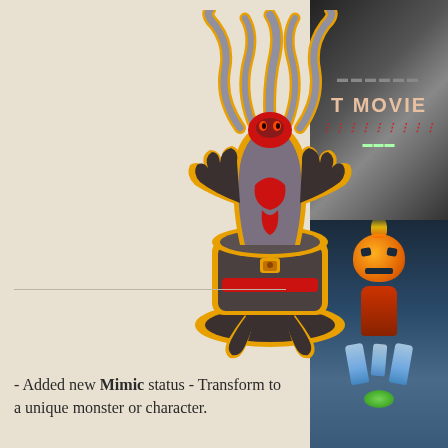[Figure (illustration): A stylized game token/character art of a Mimic monster — a creature with tentacle-like appendages rising above a chest or cauldron base, with an orange outline/border, rendered in dark reds, grays, and blacks against a beige/cream background.]
- Added new Mimic status - Transform to a unique monster or character.
[Figure (photo): Right panel showing partial image: top half shows dark background with text 'T MOVIE' in large letters and scratched red text below; bottom half shows a fantasy/horror scene with a pumpkin-headed figure, green glow, and icy/crystal decorative elements on a dark blue background.]